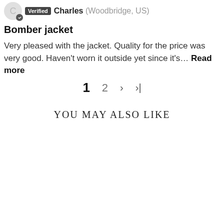Verified Charles (Woodbridge, US)
Bomber jacket
Very pleased with the jacket. Quality for the price was very good. Haven't worn it outside yet since it's… Read more
1  2  >  >|
YOU MAY ALSO LIKE
[Figure (photo): Dark brown leather bomber jacket open at the front showing an American flag lining and a brand label, displayed on white background]
[Figure (photo): Dark brown leather bomber jacket open at the front showing an American flag lining and a brand label, displayed on white background — second variant]